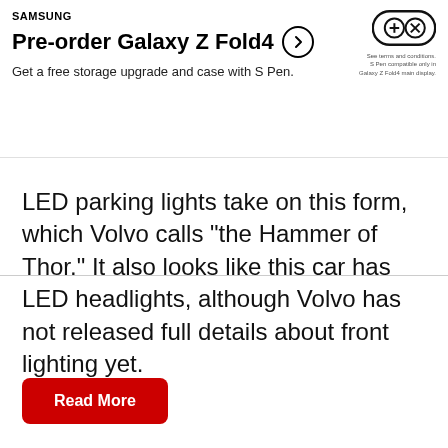[Figure (screenshot): Samsung advertisement banner for Galaxy Z Fold4 pre-order with game controller icon. Text: SAMSUNG, Pre-order Galaxy Z Fold4, Get a free storage upgrade and case with S Pen. Fine print: See terms and conditions. S Pen compatible only in Galaxy Z Fold4 main display.]
LED parking lights take on this form, which Volvo calls "the Hammer of Thor." It also looks like this car has LED headlights, although Volvo has not released full details about front lighting yet.
Read More